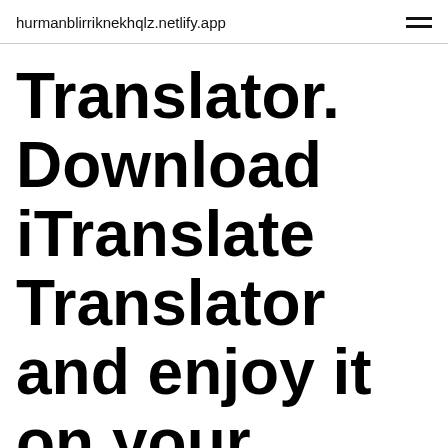hurmanblirriknekhqlz.netlify.app
Translator. Download iTranslate Translator and enjoy it on your iPhone, iPad and iPod touch